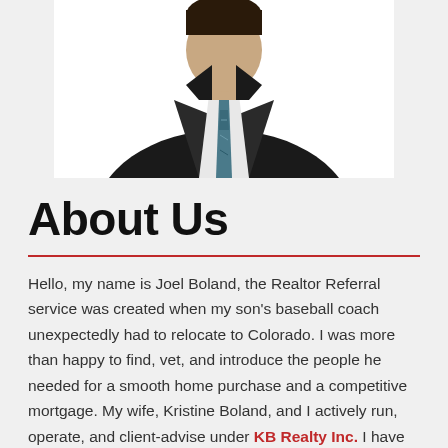[Figure (photo): Professional headshot photo of a man in a dark suit with a blue patterned tie, cropped at torso level against a white background]
About Us
Hello, my name is Joel Boland, the Realtor Referral service was created when my son's baseball coach unexpectedly had to relocate to Colorado. I was more than happy to find, vet, and introduce the people he needed for a smooth home purchase and a competitive mortgage. My wife, Kristine Boland, and I actively run, operate, and client-advise under KB Realty Inc. I have held my Real Estate license since 2005. Personally, I have 10+ years'